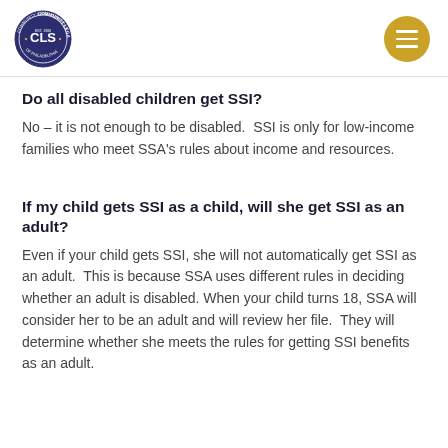CLS Community Legal Services of Philadelphia
Do all disabled children get SSI?
No – it is not enough to be disabled.  SSI is only for low-income families who meet SSA's rules about income and resources.
If my child gets SSI as a child, will she get SSI as an adult?
Even if your child gets SSI, she will not automatically get SSI as an adult.  This is because SSA uses different rules in deciding whether an adult is disabled. When your child turns 18, SSA will consider her to be an adult and will review her file.  They will determine whether she meets the rules for getting SSI benefits as an adult.